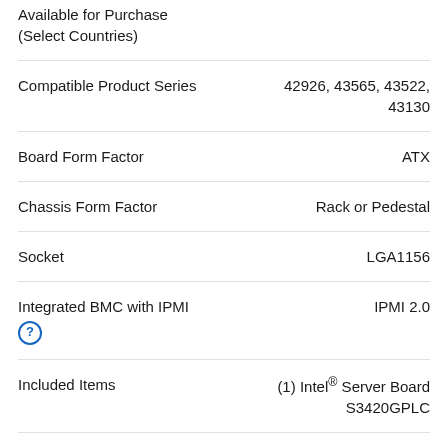Available for Purchase (Select Countries)
Compatible Product Series
Board Form Factor
Chassis Form Factor
Socket
Integrated BMC with IPMI
Included Items
Board Chipset
Target Market